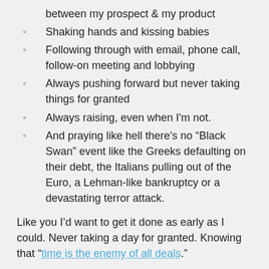between my prospect & my product
Shaking hands and kissing babies
Following through with email, phone call, follow-on meeting and lobbying
Always pushing forward but never taking things for granted
Always raising, even when I'm not.
And praying like hell there's no “Black Swan” event like the Greeks defaulting on their debt, the Italians pulling out of the Euro, a Lehman-like bankruptcy or a devastating terror attack.
Like you I’d want to get it done as early as I could. Never taking a day for granted. Knowing that “time is the enemy of all deals.”
And then waking up one day many months later and